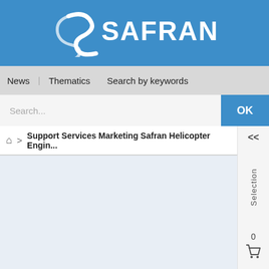[Figure (logo): Safran company logo — white S icon and SAFRAN wordmark on blue background]
News | Thematics | Search by keywords
Search...
OK
Support Services Marketing Safran Helicopter Engin...
Selection
0